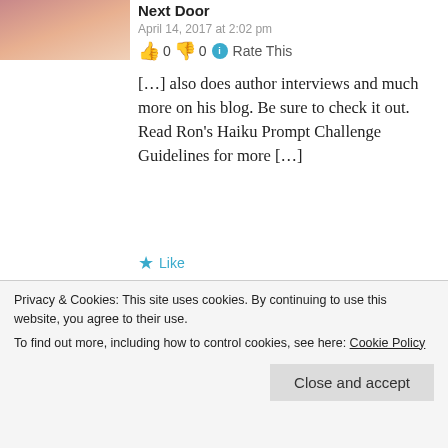[Figure (photo): Avatar photo of a woman, partial face visible, warm skin tones]
Next Door
April 14, 2017 at 2:02 pm
👍 0 👎 0 ℹ Rate This
[…] also does author interviews and much more on his blog. Be sure to check it out. Read Ron's Haiku Prompt Challenge Guidelines for more […]
★ Like
[Figure (photo): Avatar photo of a blonde woman, partial face visible]
Haiku Friday – Beautiful & Curse | The Writer Next Door
Privacy & Cookies: This site uses cookies. By continuing to use this website, you agree to their use.
To find out more, including how to control cookies, see here: Cookie Policy
Close and accept
[…] also does author interviews and much more on his blog. Be sure to